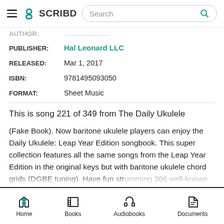SCRIBD — Search bar navigation
PUBLISHER: Hal Leonard LLC
RELEASED: Mar 1, 2017
ISBN: 9781495093050
FORMAT: Sheet Music
This is song 221 of 349 from The Daily Ukulele
(Fake Book). Now baritone ukulele players can enjoy the Daily Ukulele: Leap Year Edition songbook. This super collection features all the same songs from the Leap Year Edition in the original keys but with baritone ukulele chord grids (DGBE tuning). Have fun strumming 366 well-known songs from the 1950s
Home  Books  Audiobooks  Documents